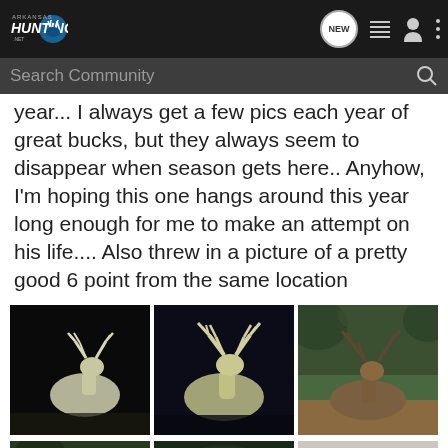Arkansas Hunting .net — navigation bar with NEW, list, person, and menu icons; Search Community search bar
year... I always get a few pics each year of great bucks, but they always seem to disappear when season gets here.. Anyhow, I'm hoping this one hangs around this year long enough for me to make an attempt on his life.... Also threw in a picture of a pretty good 6 point from the same location
[Figure (photo): Three trail camera photos of deer/bucks with large antlers]
[Figure (photo): Bottom row partial photos — two partially visible deer photos on left, one light-colored partial on right]